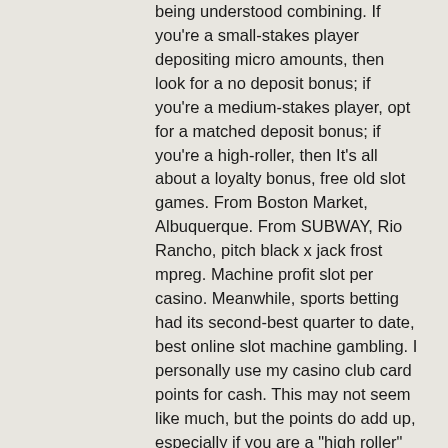being understood combining. If you're a small-stakes player depositing micro amounts, then look for a no deposit bonus; if you're a medium-stakes player, opt for a matched deposit bonus; if you're a high-roller, then It's all about a loyalty bonus, free old slot games. From Boston Market, Albuquerque. From SUBWAY, Rio Rancho, pitch black x jack frost mpreg. Machine profit slot per casino. Meanwhile, sports betting had its second-best quarter to date, best online slot machine gambling. I personally use my casino club card points for cash. This may not seem like much, but the points do add up, especially if you are a "high roller" who bets over a dollar per spin on the slot machines, how much does rivers casino pay security. Will you strike gold and win the jackpot? Enjoy Lots of Free Casino Slot Games and Table Games, casino detroit poker mgm. But if you are lucky enough to win, you could gain a profit of more than